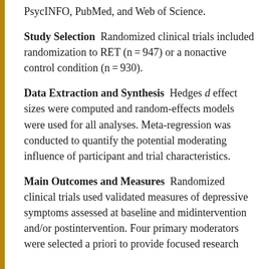PsycINFO, PubMed, and Web of Science.
Study Selection  Randomized clinical trials included randomization to RET (n = 947) or a nonactive control condition (n = 930).
Data Extraction and Synthesis  Hedges d effect sizes were computed and random-effects models were used for all analyses. Meta-regression was conducted to quantify the potential moderating influence of participant and trial characteristics.
Main Outcomes and Measures  Randomized clinical trials used validated measures of depressive symptoms assessed at baseline and midintervention and/or postintervention. Four primary moderators were selected a priori to provide focused research